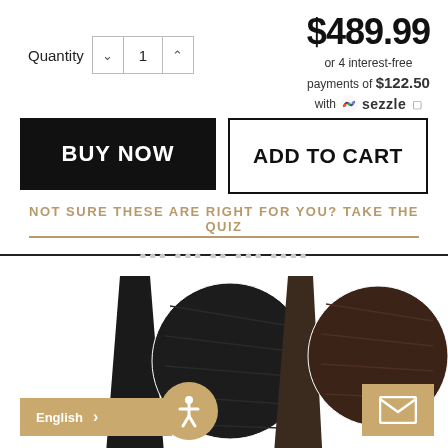$489.99
or 4 interest-free payments of $122.50 with Sezzle
Quantity 1
BUY NOW
ADD TO CART
NOT SURE THESE ARE RIGHT FOR YOU? TAKE THE QUIZ
[Figure (photo): Two hair extension samples: left is jet black, right is dark brown, each with a circular color swatch detail inset]
English
[Figure (illustration): Accessibility icon button (gold/tan circular button with person icon)]
[Figure (illustration): Mail/envelope icon button (gold/tan square button with envelope icon)]